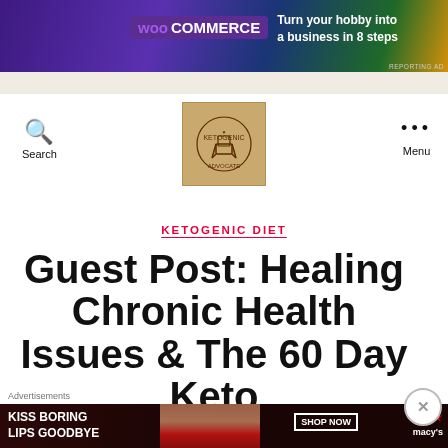[Figure (other): WooCommerce advertisement banner: 'Turn your hobby into a business in 8 steps' on dark purple/green gradient background]
[Figure (logo): Ketogenic company circular logo on tan/beige square background with deer/chair icon]
Search
Menu
KETOGENIC DIET
Guest Post: Healing Chronic Health Issues & The 60 Day Keto
Advertisements
[Figure (photo): Macy's advertisement: 'Kiss Boring Lips Goodbye' with woman's face and red lips, Shop Now button with Macy's star logo]